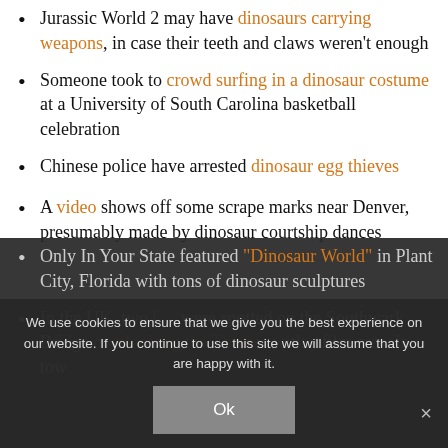Jurassic World 2 may have dinosaurs carrying weapons, in case their teeth and claws weren't enough
Someone took to crowd surfing in a dinosaur costume at a University of South Carolina basketball celebration
Chinese police have arrested dinosaur egg thieves
A video shows off some scrape marks near Denver, presumably made by dinosaur courtship dances
Only In Your State featured "Dinosaur World" in Plant City, Florida with tons of dinosaur sculptures
In the UK, two [dinosaurs] were spotted on the Southwark Bridge overlooking the Thames with a film crew in tow
We use cookies to ensure that we give you the best experience on our website. If you continue to use this site we will assume that you are happy with it. Ok ×